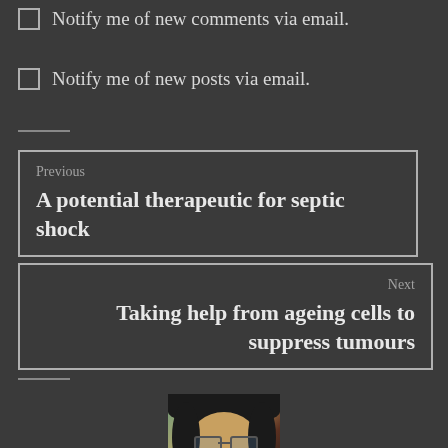Notify me of new comments via email.
Notify me of new posts via email.
Previous
A potential therapeutic for septic shock
Next
Taking help from ageing cells to suppress tumours
[Figure (photo): Portrait photo of a woman with dark curly hair and glasses, smiling]